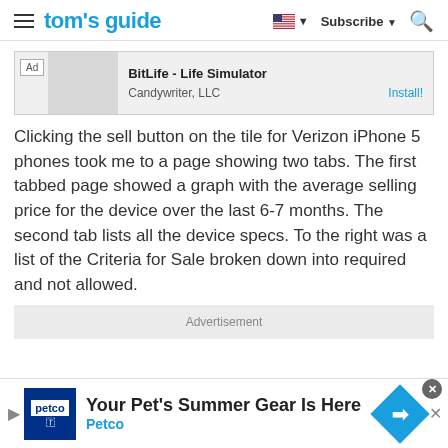tom's guide | Subscribe
[Figure (screenshot): Ad banner: BitLife - Life Simulator by Candywriter, LLC with Install button]
Clicking the sell button on the tile for Verizon iPhone 5 phones took me to a page showing two tabs. The first tabbed page showed a graph with the average selling price for the device over the last 6-7 months. The second tab lists all the device specs. To the right was a list of the Criteria for Sale broken down into required and not allowed.
Advertisement
[Figure (screenshot): Bottom banner ad: Your Pet's Summer Gear Is Here - Petco]